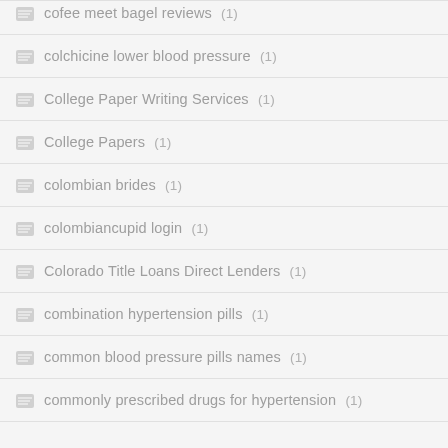cofee meet bagel reviews (1)
colchicine lower blood pressure (1)
College Paper Writing Services (1)
College Papers (1)
colombian brides (1)
colombiancupid login (1)
Colorado Title Loans Direct Lenders (1)
combination hypertension pills (1)
common blood pressure pills names (1)
commonly prescribed drugs for hypertension (1)